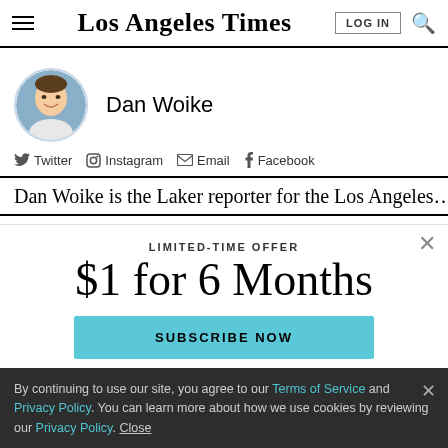Los Angeles Times
[Figure (photo): Circular headshot of Dan Woike, author, against a light blue background]
Dan Woike
Twitter  Instagram  Email  Facebook
LIMITED-TIME OFFER
$1 for 6 Months
SUBSCRIBE NOW
By continuing to use our site, you agree to our Terms of Service and Privacy Policy. You can learn more about how we use cookies by reviewing our Privacy Policy. Close